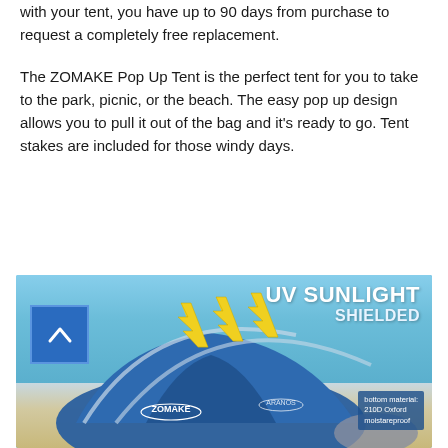with your tent, you have up to 90 days from purchase to request a completely free replacement.
The ZOMAKE Pop Up Tent is the perfect tent for you to take to the park, picnic, or the beach. The easy pop up design allows you to pull it out of the bag and it's ready to go. Tent stakes are included for those windy days.
[Figure (photo): Product photo of ZOMAKE Pop Up Tent (blue) on a beach scene. Text overlay reads 'UV SUNLIGHT SHIELDED' with yellow zigzag arrows deflecting off the tent. A blue icon box with a chevron/tent symbol is shown. Bottom right label reads 'bottom material: 210D Oxford moistareproof'.]